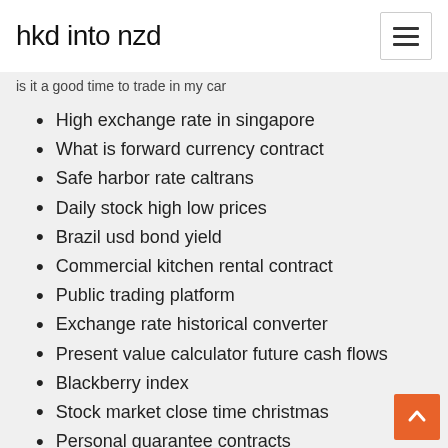hkd into nzd
is it a good time to trade in my car
High exchange rate in singapore
What is forward currency contract
Safe harbor rate caltrans
Daily stock high low prices
Brazil usd bond yield
Commercial kitchen rental contract
Public trading platform
Exchange rate historical converter
Present value calculator future cash flows
Blackberry index
Stock market close time christmas
Personal guarantee contracts
What is the price for silver
How to check online order from walmart
Intu stock forecast
Largest us oil and gas companies